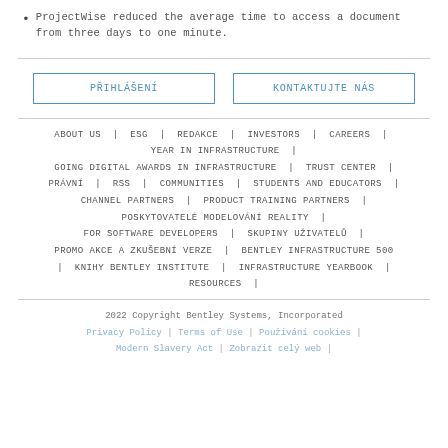ProjectWise reduced the average time to access a document from three days to one minute.
PŘIHLÁŠENÍ | KONTAKTUJTE NÁS
ABOUT US | ESG | REDAKCE | INVESTORS | CAREERS | YEAR IN INFRASTRUCTURE | GOING DIGITAL AWARDS IN INFRASTRUCTURE | TRUST CENTER | PRÁVNÍ | RSS | COMMUNITIES | STUDENTS AND EDUCATORS | CHANNEL PARTNERS | PRODUCT TRAINING PARTNERS | POSKYTOVATELÉ MODELOVÁNÍ REALITY | FOR SOFTWARE DEVELOPERS | SKUPINY UŽIVATELŮ | PROMO AKCE A ZKUŠEBNÍ VERZE | BENTLEY INFRASTRUCTURE 500 | KNIHY BENTLEY INSTITUTE | INFRASTRUCTURE YEARBOOK | RESOURCES |
2022 Copyright Bentley Systems, Incorporated
Privacy Policy | Terms of Use | Používání cookies | Modern Slavery Act | Zobrazit celý web |